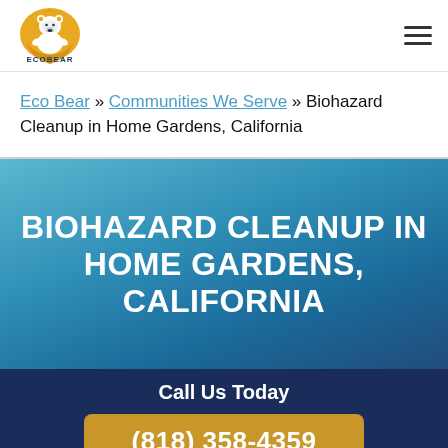[Figure (logo): EcoBear logo with polar bear on yellow/gold shield background, text ECOBEAR below]
Eco Bear » Communities We Serve » Biohazard Cleanup in Home Gardens, California
BIOHAZARD CLEANUP IN HOME GARDENS, CALIFORNIA
Call Us Today
(818) 358-4359